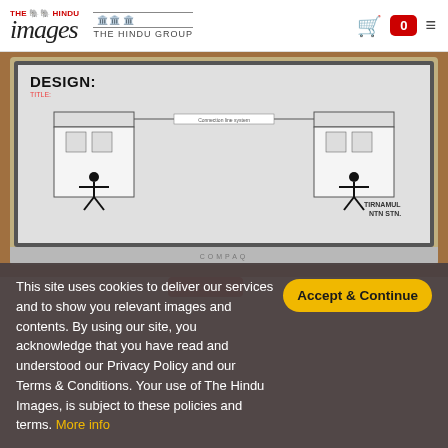THE HINDU images | THE HINDU GROUP
[Figure (photo): Screenshot showing a laptop computer displaying a design schematic/blueprint with two structures and human figures, with text 'DESIGN:' visible on screen. The laptop is a Compaq model. Photographed on a wooden surface.]
This site uses cookies to deliver our services and to show you relevant images and contents. By using our site, you acknowledge that you have read and understood our Privacy Policy and our Terms & Conditions. Your use of The Hindu Images, is subject to these policies and terms. More info